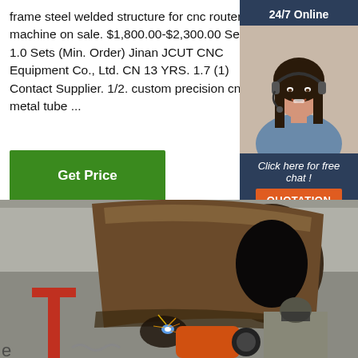frame steel welded structure for cnc router machine on sale. $1,800.00-$2,300.00 Set. 1.0 Sets (Min. Order) Jinan JCUT CNC Equipment Co., Ltd. CN 13 YRS. 1.7 (1) Contact Supplier. 1/2. custom precision cnc metal tube ...
[Figure (photo): Customer service representative with headset, smiling, for 24/7 online chat widget]
Click here for free chat !
QUOTATION
Get Price
[Figure (photo): Industrial welding scene showing large steel pipe being welded, with sparks and a worker in protective gear visible in the lower right]